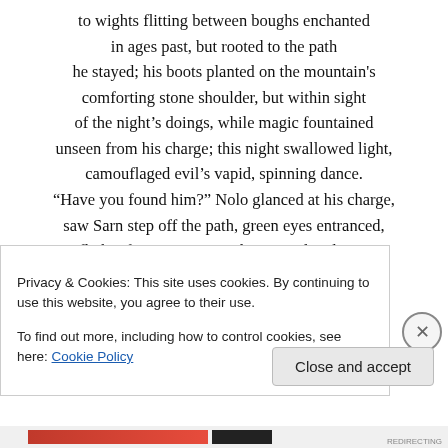to wights flitting between boughs enchanted
in ages past, but rooted to the path
he stayed; his boots planted on the mountain's
comforting stone shoulder, but within sight
of the night's doings, while magic fountained
unseen from his charge; this night swallowed light,
camouflaged evil's vapid, spinning dance.
“Have you found him?” Nolo glanced at his charge,
saw Sarn step off the path, green eyes entranced,
flicker from mountainside to meadow large,
one more jump and he’d pass the standing stones
Privacy & Cookies: This site uses cookies. By continuing to use this website, you agree to their use.
To find out more, including how to control cookies, see here: Cookie Policy
Close and accept